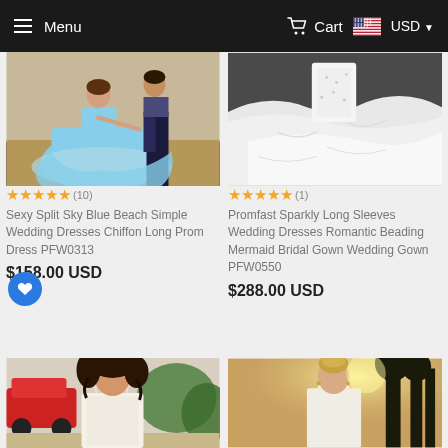Menu  Cart  USD
[Figure (photo): Woman in sky blue flowing dress outdoors with another person in dark jeans]
★★★★★ (10)
Sexy Split Sky Blue Beach Simple Wedding Dresses Chiffon Long Prom Dress PFW0313
$158.00 USD
[Figure (photo): White bridal gown with flowing chiffon skirt, close-up of lower portion]
★★★★★ (1)
Promfast Sparkly Long Sleeves Wedding Dresses Romantic Beading Mermaid Bridal Gown Wedding Gown PFW0550
$288.00 USD
[Figure (photo): Woman with curly hair in white lace wedding dress, outdoor background with red car]
[Figure (photo): Blonde woman in halter-neck white dress with sunset and trees in background]